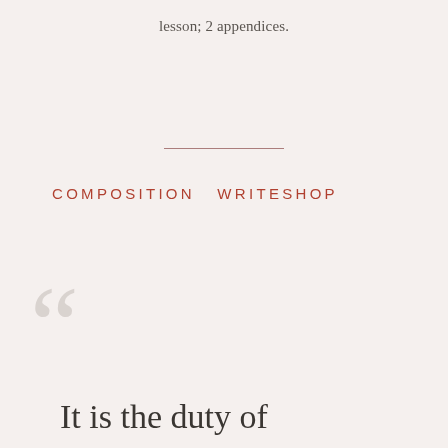lesson; 2 appendices.
COMPOSITION  WRITESHOP
“It is the duty of